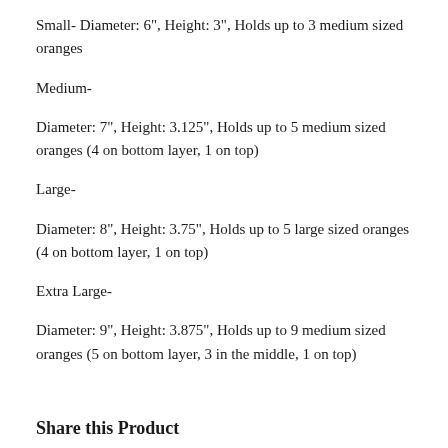Small- Diameter: 6", Height: 3", Holds up to 3 medium sized oranges
Medium-
Diameter: 7", Height: 3.125", Holds up to 5 medium sized oranges (4 on bottom layer, 1 on top)
Large-
Diameter: 8", Height: 3.75", Holds up to 5 large sized oranges (4 on bottom layer, 1 on top)
Extra Large-
Diameter: 9", Height: 3.875", Holds up to 9 medium sized oranges (5 on bottom layer, 3 in the middle, 1 on top)
Share this Product